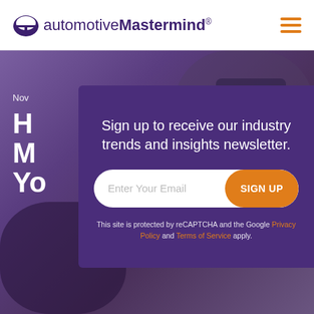[Figure (logo): automotiveMastermind logo with umbrella/arch icon]
[Figure (illustration): Three horizontal orange hamburger menu lines icon]
[Figure (photo): Purple-tinted hero background with blurred office/laptop imagery]
Nov
H
M
Yo
Sign up to receive our industry trends and insights newsletter.
Enter Your Email
SIGN UP
This site is protected by reCAPTCHA and the Google Privacy Policy and Terms of Service apply.